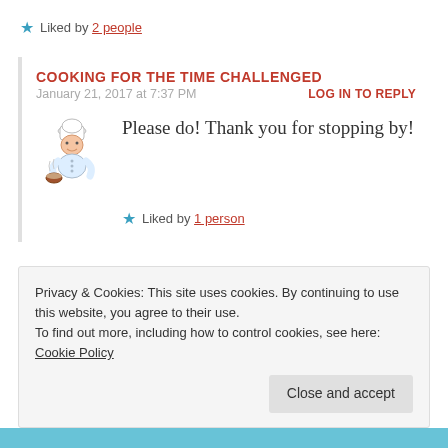Liked by 2 people
COOKING FOR THE TIME CHALLENGED
January 21, 2017 at 7:37 PM
LOG IN TO REPLY
[Figure (illustration): Cartoon chef illustration holding a bowl]
Please do! Thank you for stopping by!
Liked by 1 person
Privacy & Cookies: This site uses cookies. By continuing to use this website, you agree to their use.
To find out more, including how to control cookies, see here: Cookie Policy
Close and accept